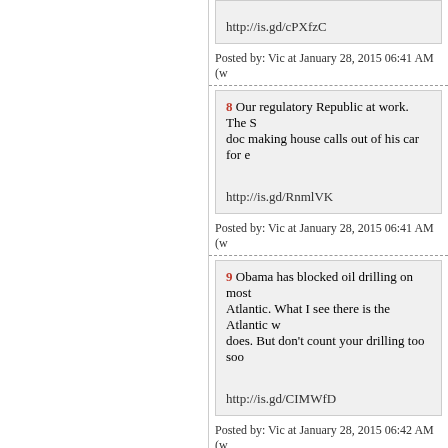http://is.gd/cPXfzC
Posted by: Vic at January 28, 2015 06:41 AM (w
8 Our regulatory Republic at work. The S... doc making house calls out of his car for e...

http://is.gd/RnmlVK
Posted by: Vic at January 28, 2015 06:41 AM (w
9 Obama has blocked oil drilling on most... Atlantic. What I see there is the Atlantic w... does. But don't count your drilling too soo...

http://is.gd/CIMWfD
Posted by: Vic at January 28, 2015 06:42 AM (w
10 House Republicans are looking into an... amnesty actions. They have the power to b...